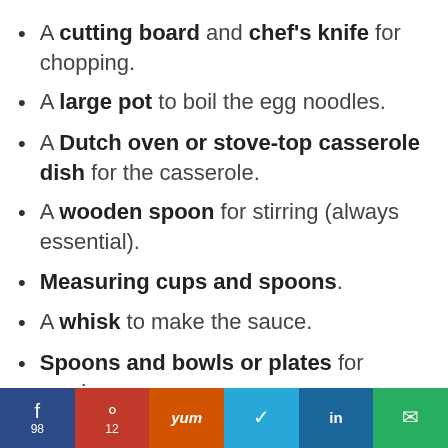A cutting board and chef's knife for chopping.
A large pot to boil the egg noodles.
A Dutch oven or stove-top casserole dish for the casserole.
A wooden spoon for stirring (always essential).
Measuring cups and spoons.
A whisk to make the sauce.
Spoons and bowls or plates for serving.
f 98 | Pinterest 12 | Yum | Twitter | in | Email